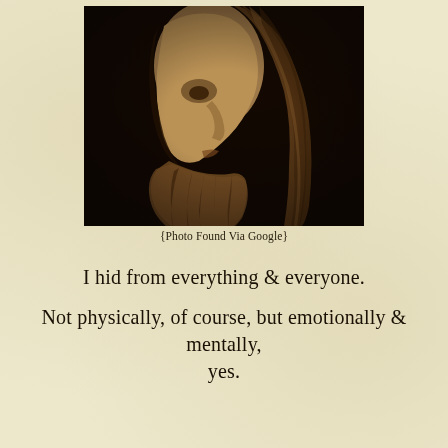[Figure (photo): Dramatic sepia-toned side profile of a man with long hair and a full beard, looking downward against a dark background]
{Photo Found Via Google}
I hid from everything & everyone.
Not physically, of course, but emotionally & mentally, yes.